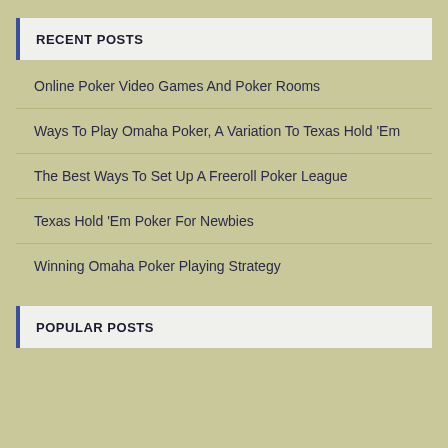RECENT POSTS
Online Poker Video Games And Poker Rooms
Ways To Play Omaha Poker, A Variation To Texas Hold 'Em
The Best Ways To Set Up A Freeroll Poker League
Texas Hold 'Em Poker For Newbies
Winning Omaha Poker Playing Strategy
POPULAR POSTS